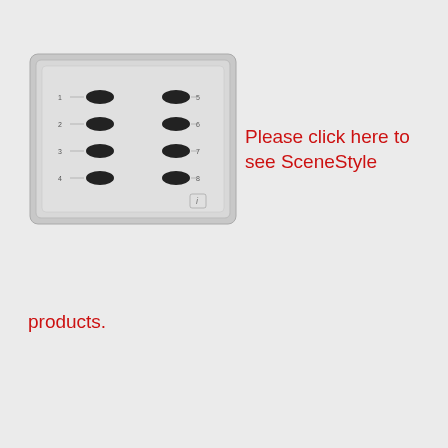[Figure (photo): A rectangular wall-mounted lighting control panel or keypad with a silver/aluminum finish. It features 8 black oval/pill-shaped buttons arranged in two columns of 4, with small indicator lights or labels next to each button. There is a small icon or logo at the bottom right corner of the device.]
Please click here to see SceneStyle products.